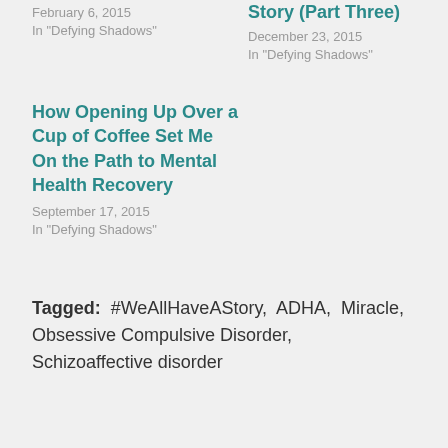February 6, 2015
In "Defying Shadows"
Story (Part Three)
December 23, 2015
In "Defying Shadows"
How Opening Up Over a Cup of Coffee Set Me On the Path to Mental Health Recovery
September 17, 2015
In "Defying Shadows"
Tagged: #WeAllHaveAStory, ADHA, Miracle, Obsessive Compulsive Disorder, Schizoaffective disorder